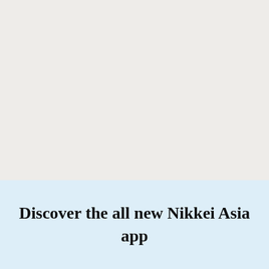Discover the all new Nikkei Asia app